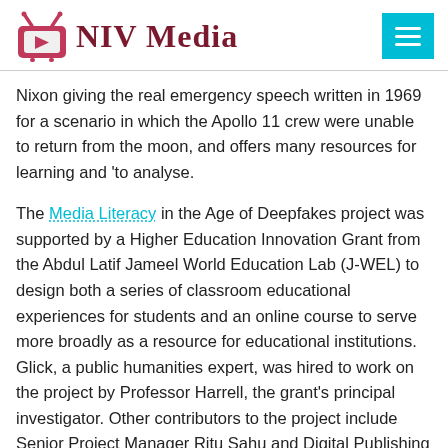NIV Media
Nixon giving the real emergency speech written in 1969 for a scenario in which the Apollo 11 crew were unable to return from the moon, and offers many resources for learning and ‘to analyse.
The Media Literacy in the Age of Deepfakes project was supported by a Higher Education Innovation Grant from the Abdul Latif Jameel World Education Lab (J-WEL) to design both a series of classroom educational experiences for students and an online course to serve more broadly as a resource for educational institutions. Glick, a public humanities expert, was hired to work on the project by Professor Harrell, the grant’s principal investigator. Other contributors to the project include Senior Project Manager Ritu Sahu and Digital Publishing...